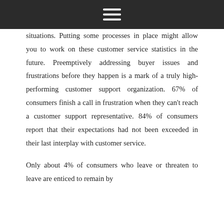☰
situations. Putting some processes in place might allow you to work on these customer service statistics in the future. Preemptively addressing buyer issues and frustrations before they happen is a mark of a truly high-performing customer support organization. 67% of consumers finish a call in frustration when they can't reach a customer support representative. 84% of consumers report that their expectations had not been exceeded in their last interplay with customer service.
Only about 4% of consumers who leave or threaten to leave are enticed to remain by